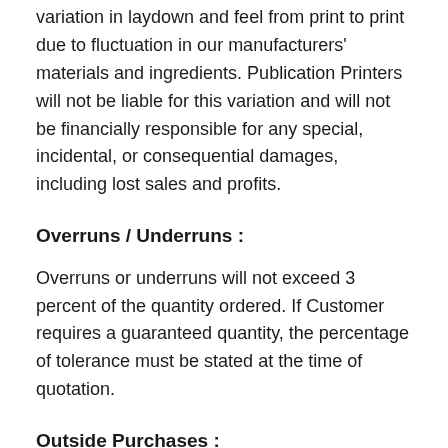variation in laydown and feel from print to print due to fluctuation in our manufacturers' materials and ingredients. Publication Printers will not be liable for this variation and will not be financially responsible for any special, incidental, or consequential damages, including lost sales and profits.
Overruns / Underruns :
Overruns or underruns will not exceed 3 percent of the quantity ordered. If Customer requires a guaranteed quantity, the percentage of tolerance must be stated at the time of quotation.
Outside Purchases :
Unless otherwise agreed upon in writing, all outside purchases as requested or authorized by the Customer are chargeable.